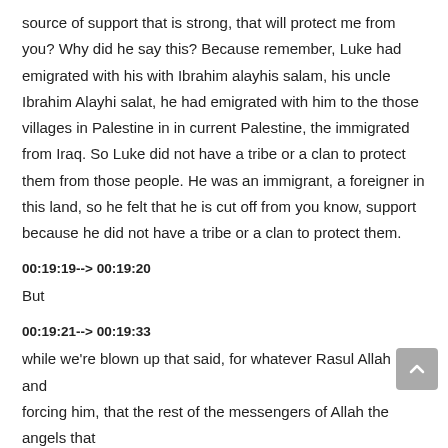source of support that is strong, that will protect me from you? Why did he say this? Because remember, Luke had emigrated with his with Ibrahim alayhis salam, his uncle Ibrahim Alayhi salat, he had emigrated with him to the those villages in Palestine in in current Palestine, the immigrated from Iraq. So Luke did not have a tribe or a clan to protect them from those people. He was an immigrant, a foreigner in this land, so he felt that he is cut off from you know, support because he did not have a tribe or a clan to protect them.
00:19:19--> 00:19:20
But
00:19:21--> 00:19:33
while we're blown up that said, for whatever Rasul Allah He and forcing him, that the rest of the messengers of Allah the angels that